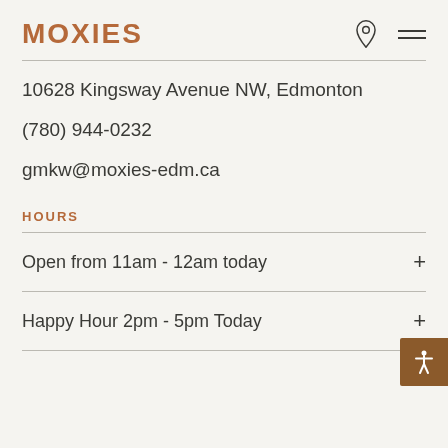MOXIES
10628 Kingsway Avenue NW, Edmonton
(780) 944-0232
gmkw@moxies-edm.ca
HOURS
Open from 11am - 12am today
Happy Hour 2pm - 5pm Today